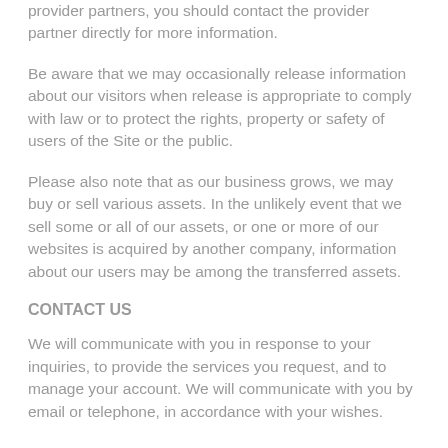provider partners, you should contact the provider partner directly for more information.
Be aware that we may occasionally release information about our visitors when release is appropriate to comply with law or to protect the rights, property or safety of users of the Site or the public.
Please also note that as our business grows, we may buy or sell various assets. In the unlikely event that we sell some or all of our assets, or one or more of our websites is acquired by another company, information about our users may be among the transferred assets.
CONTACT US
We will communicate with you in response to your inquiries, to provide the services you request, and to manage your account. We will communicate with you by email or telephone, in accordance with your wishes.